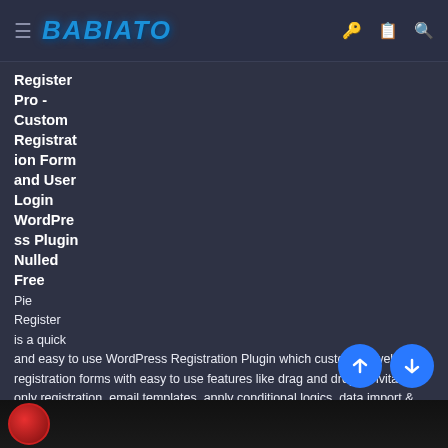BABIATO
Register Pro - Custom Registration Form and User Login WordPress Plugin Nulled Free
Pie Register is a quick and easy to use WordPress Registration Plugin which customize website registration forms with easy to use features like drag and drops, invitation-only registration, email templates, apply conditional logics, data import & export, implement role-based redirection and can convert the WordPress website into membership-base site.
[Figure (screenshot): Bottom strip showing the beginning of an image/thumbnail with a red circular logo on a dark background]